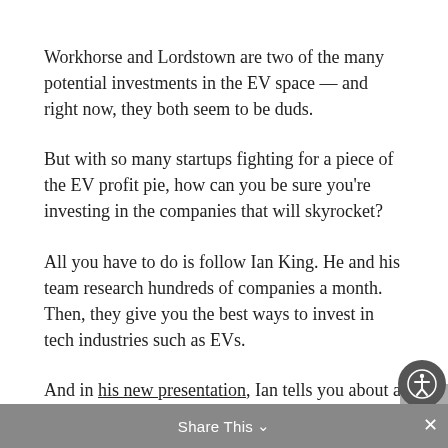Workhorse and Lordstown are two of the many potential investments in the EV space — and right now, they both seem to be duds.
But with so many startups fighting for a piece of the EV profit pie, how can you be sure you're investing in the companies that will skyrocket?
All you have to do is follow Ian King. He and his team research hundreds of companies a month. Then, they give you the best ways to invest in tech industries such as EVs.
And in his new presentation, Ian tells you about a pick-and-shovel play on the EV space that almost one is paying attention to.
Share This